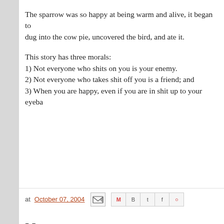The sparrow was so happy at being warm and alive, it began to dug into the cow pie, uncovered the bird, and ate it.
This story has three morals:
1) Not everyone who shits on you is your enemy.
2) Not everyone who takes shit off you is a friend; and
3) When you are happy, even if you are in shit up to your eyeba
at October 07, 2004
No comments:
Post a Comment